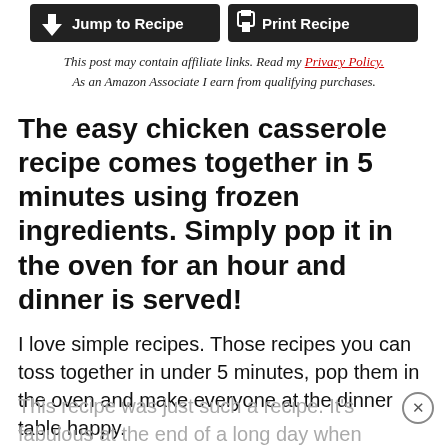[Figure (other): Two dark buttons: 'Jump to Recipe' with a down-arrow icon, and 'Print Recipe' with a print icon]
This post may contain affiliate links. Read my Privacy Policy. As an Amazon Associate I earn from qualifying purchases.
The easy chicken casserole recipe comes together in 5 minutes using frozen ingredients. Simply pop it in the oven for an hour and dinner is served!
I love simple recipes. Those recipes you can toss together in under 5 minutes, pop them in the oven and make everyone at the dinner table happy.
This recipe was just such a recipe. It's fabulous at the end of a long day when